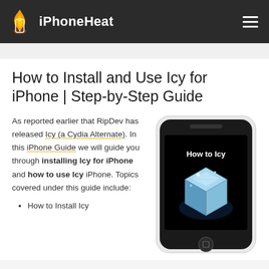iPhoneHeat
How to Install and Use Icy for iPhone | Step-by-Step Guide
[Figure (screenshot): iPhone device showing 'How to Icy' screen with a glowing blue ice cube on a black background]
As reported earlier that RipDev has released Icy (a Cydia Alternate). In this iPhone Guide we will guide you through installing Icy for iPhone and how to use Icy iPhone. Topics covered under this guide include:
How to Install Icy